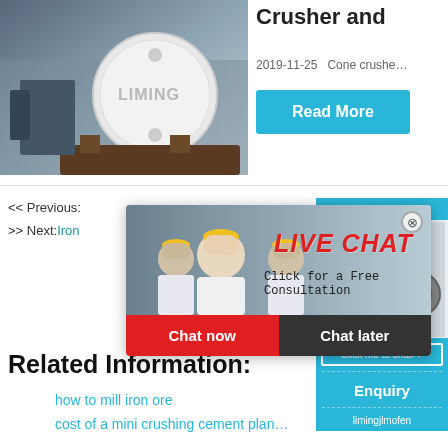[Figure (photo): Industrial LIMING heavy crusher machine in factory setting]
Crusher and
2019-11-25   Cone crushe...
Read More
<< Previous:
>> Next:Iron
[Figure (photo): Live Chat popup with workers in yellow hard hats, Chat now and Chat later buttons]
[Figure (photo): Right sidebar with crusher machine image, hour online text, Click me to chat>>, Enquiry, limingjlmofen]
Related Information:
how to mill iron ore
cost of a mini crushing cement plant